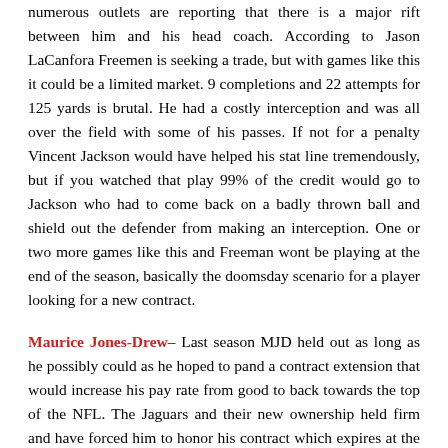numerous outlets are reporting that there is a major rift between him and his head coach. According to Jason LaCanfora Freemen is seeking a trade, but with games like this it could be a limited market. 9 completions and 22 attempts for 125 yards is brutal. He had a costly interception and was all over the field with some of his passes. If not for a penalty Vincent Jackson would have helped his stat line tremendously, but if you watched that play 99% of the credit would go to Jackson who had to come back on a badly thrown ball and shield out the defender from making an interception. One or two more games like this and Freeman wont be playing at the end of the season, basically the doomsday scenario for a player looking for a new contract.
Maurice Jones-Drew– Last season MJD held out as long as he possibly could as he hoped to pand a contract extension that would increase his pay rate from good to back towards the top of the NFL. The Jaguars and their new ownership held firm and have forced him to honor his contract which expires at the end of the season. After an injury last year MJD needed to bounce back and have a big season.  Working with no quarterback, Jones-Drew I would imagine looked at this as an opportunity to showcase that he could help a team with a developing QB or